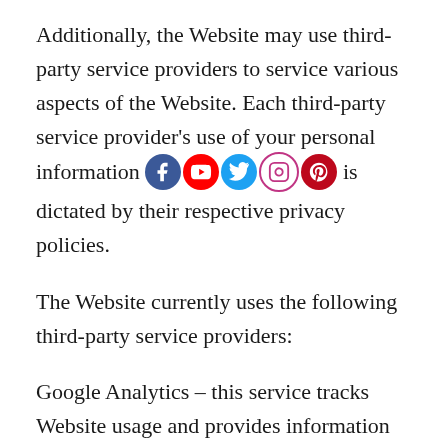Additionally, the Website may use third-party service providers to service various aspects of the Website. Each third-party service provider's use of your personal information is dictated by their respective privacy policies.
The Website currently uses the following third-party service providers:
Google Analytics – this service tracks Website usage and provides information such as referring websites and user actions on the Website. Google Analytics may capture your